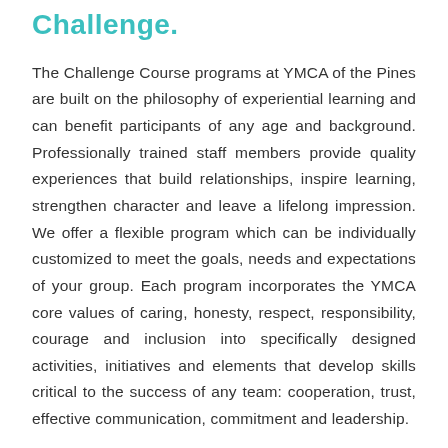Challenge.
The Challenge Course programs at YMCA of the Pines are built on the philosophy of experiential learning and can benefit participants of any age and background. Professionally trained staff members provide quality experiences that build relationships, inspire learning, strengthen character and leave a lifelong impression. We offer a flexible program which can be individually customized to meet the goals, needs and expectations of your group. Each program incorporates the YMCA core values of caring, honesty, respect, responsibility, courage and inclusion into specifically designed activities, initiatives and elements that develop skills critical to the success of any team: cooperation, trust, effective communication, commitment and leadership.